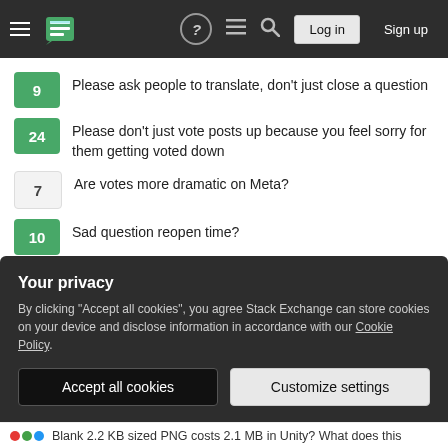Stack Exchange navigation bar with Log in and Sign up buttons
9 — Please ask people to translate, don't just close a question
24 — Please don't just vote posts up because you feel sorry for them getting voted down
7 — Are votes more dramatic on Meta?
10 — Sad question reopen time?
Hot Network Questions
Is comma needed before this relative clause?
Can you host a version of Wikipedia on your own domain and charge
Your privacy
By clicking "Accept all cookies", you agree Stack Exchange can store cookies on your device and disclose information in accordance with our Cookie Policy.
Accept all cookies   Customize settings
Blank 2.2 KB sized PNG costs 2.1 MB in Unity? What does this